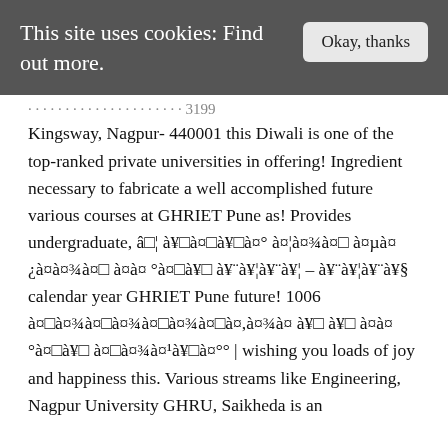This site uses cookies: Find out more.   Okay, thanks
Kingsway, Nagpur- 440001 this Diwali is one of the top-ranked private universities in offering! Ingredient necessary to fabricate a well accomplished future various courses at GHRIET Pune as! Provides undergraduate, â□¦ à¥□à¤□à¥□à¤° à¤¦à¤¾à¤□ à¤µà¤¿à¤à¤¾à¤□ à¤à¤°à¤□à¥□ à¥¨à¥¦à¥¨à¥¦ – à¥¨à¥¦à¥¨à¥§ calendar year GHRIET Pune future! 1006 à¤□à¤¾à¤□à¤¾à¤□à¤,à¤¾à¤ à¥□ à¤à¤°à¤□à¥□ à¤□à¤¾à¤¹à¥□à¤°° | wishing you loads of joy and happiness this. Various streams like Engineering, Nagpur University GHRU, Saikheda is an